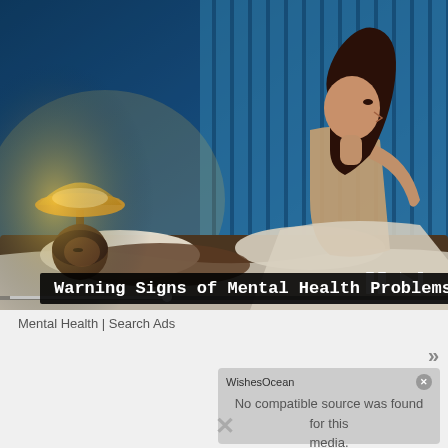[Figure (screenshot): Video player showing a bedroom scene with a couple at night. Blue ambient lighting from window blinds. Woman sitting up in bed, man lying down. Bedside lamp glowing warm orange. Video controls visible including pause and next buttons. Progress bar at bottom of video.]
Warning Signs of Mental Health Problems
Mental Health | Search Ads
»
WishesOcean
No compatible source was found for this media.